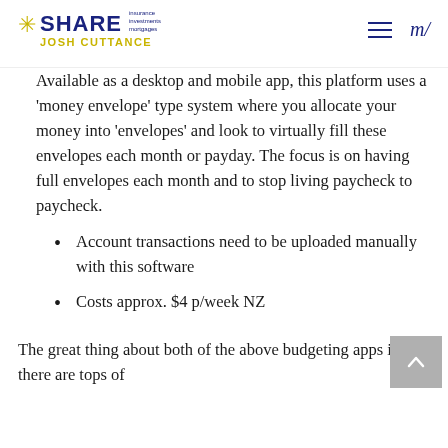SHARE insurance investments mortgages | JOSH CUTTANCE | m/
Available as a desktop and mobile app, this platform uses a 'money envelope' type system where you allocate your money into 'envelopes' and look to virtually fill these envelopes each month or payday. The focus is on having full envelopes each month and to stop living paycheck to paycheck.
Account transactions need to be uploaded manually with this software
Costs approx. $4 p/week NZ
The great thing about both of the above budgeting apps is that there are tops of